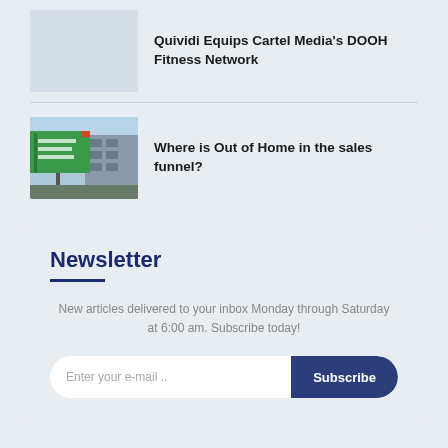[Figure (photo): Placeholder thumbnail image for Quividi DOOH Fitness Network article]
Quividi Equips Cartel Media's DOOH Fitness Network
[Figure (photo): Outdoor billboard / Out of Home advertising sign on building]
Where is Out of Home in the sales funnel?
Newsletter
New articles delivered to your inbox Monday through Saturday at 6:00 am. Subscribe today!
Enter your e-mail .. Subscribe
[Figure (photo): Dark background image with colorful light dots at the bottom of the page]